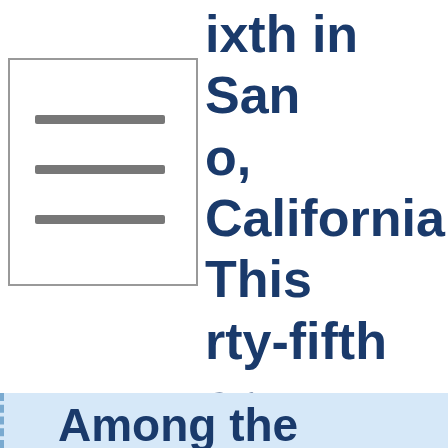[Figure (other): Menu/hamburger icon - three horizontal gray lines inside a bordered box]
ixth in San o, California. This rty-fifth ary.
Among the artists this year is flutist Maria Tamburrino, pianist Seymour Lipkin and French horn player David Sprung.